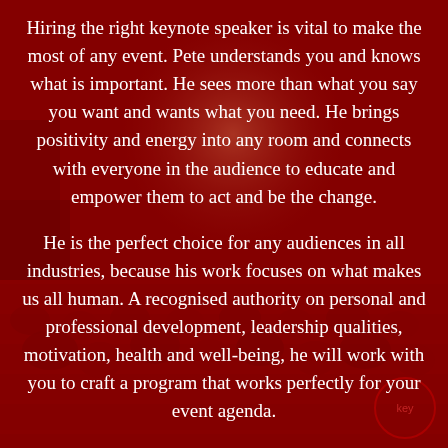[Figure (photo): Background photo of a large audience seated in a theatre/auditorium with red tint overlay, bright stage light visible in the background.]
Hiring the right keynote speaker is vital to make the most of any event. Pete understands you and knows what is important. He sees more than what you say you want and wants what you need. He brings positivity and energy into any room and connects with everyone in the audience to educate and empower them to act and be the change.

He is the perfect choice for any audiences in all industries, because his work focuses on what makes us all human. A recognised authority on personal and professional development, leadership qualities, motivation, health and well-being, he will work with you to craft a program that works perfectly for your event agenda.